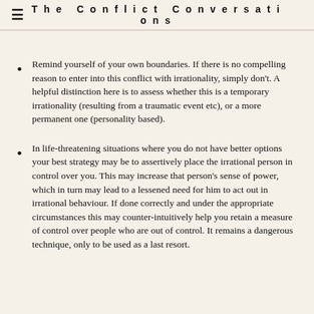The Conflict Conversations
Remind yourself of your own boundaries. If there is no compelling reason to enter into this conflict with irrationality, simply don't. A helpful distinction here is to assess whether this is a temporary irrationality (resulting from a traumatic event etc), or a more permanent one (personality based).
In life-threatening situations where you do not have better options your best strategy may be to assertively place the irrational person in control over you. This may increase that person's sense of power, which in turn may lead to a lessened need for him to act out in irrational behaviour. If done correctly and under the appropriate circumstances this may counter-intuitively help you retain a measure of control over people who are out of control. It remains a dangerous technique, only to be used as a last resort.